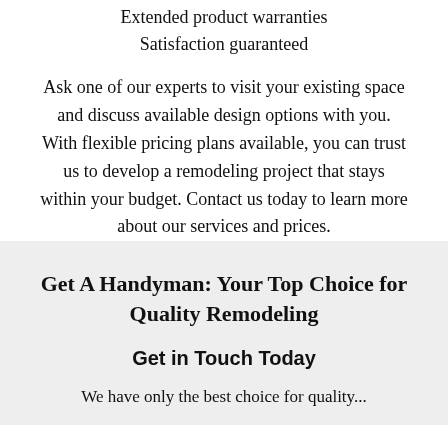Extended product warranties
Satisfaction guaranteed
Ask one of our experts to visit your existing space and discuss available design options with you. With flexible pricing plans available, you can trust us to develop a remodeling project that stays within your budget. Contact us today to learn more about our services and prices.
Get A Handyman: Your Top Choice for Quality Remodeling
Get in Touch Today
We have only the best choice for quality...